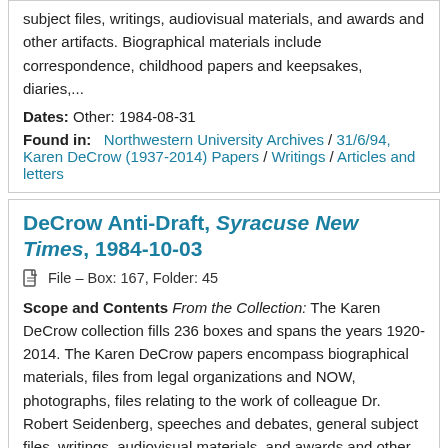subject files, writings, audiovisual materials, and awards and other artifacts. Biographical materials include correspondence, childhood papers and keepsakes, diaries,...
Dates: Other: 1984-08-31
Found in: Northwestern University Archives / 31/6/94, Karen DeCrow (1937-2014) Papers / Writings / Articles and letters
DeCrow Anti-Draft, Syracuse New Times, 1984-10-03
File – Box: 167, Folder: 45
Scope and Contents From the Collection: The Karen DeCrow collection fills 236 boxes and spans the years 1920-2014. The Karen DeCrow papers encompass biographical materials, files from legal organizations and NOW, photographs, files relating to the work of colleague Dr. Robert Seidenberg, speeches and debates, general subject files, writings, audiovisual materials, and awards and other artifacts. Biographical materials include correspondence, childhood papers and keepsakes, diaries,...
Dates: Other: 1984-10-03